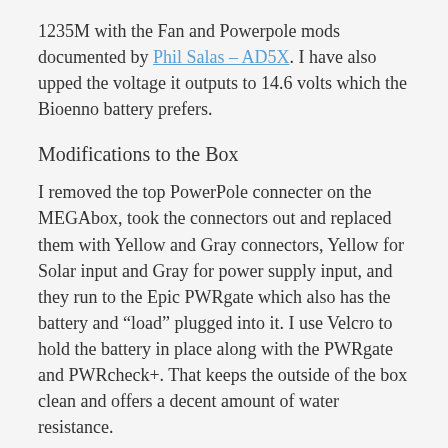1235M with the Fan and Powerpole mods documented by Phil Salas – AD5X. I have also upped the voltage it outputs to 14.6 volts which the Bioenno battery prefers.
Modifications to the Box
I removed the top PowerPole connecter on the MEGAbox, took the connectors out and replaced them with Yellow and Gray connectors, Yellow for Solar input and Gray for power supply input, and they run to the Epic PWRgate which also has the battery and “load” plugged into it. I use Velcro to hold the battery in place along with the PWRgate and PWRcheck+. That keeps the outside of the box clean and offers a decent amount of water resistance.
In Use